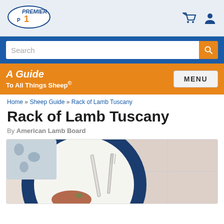[Figure (logo): Premier 1 Supplies oval logo with stylized P and number 1]
Search bar and navigation with cart and user icons
A Guide To All Things Sheep©
Home » Sheep Guide » Rack of Lamb Tuscany
Rack of Lamb Tuscany
By American Lamb Board
[Figure (photo): Overhead photo of a blue and white decorative plate with a knife and fork, with rack of lamb visible at the bottom edge]